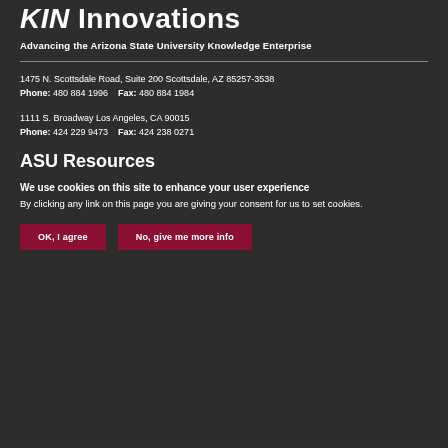KIM Innovations
Advancing the Arizona State University Knowledge Enterprise
1475 N. Scottsdale Road, Suite 200 Scottsdale, AZ 85257-3538
Phone: 480 884 1996   Fax: 480 884 1984
1111 S. Broadway Los Angeles, CA 90015
Phone: 424 229 9473   Fax: 424 238 0271
ASU Resources
We use cookies on this site to enhance your user experience
By clicking any link on this page you are giving your consent for us to set cookies.
OK, I agree
No, give me more info